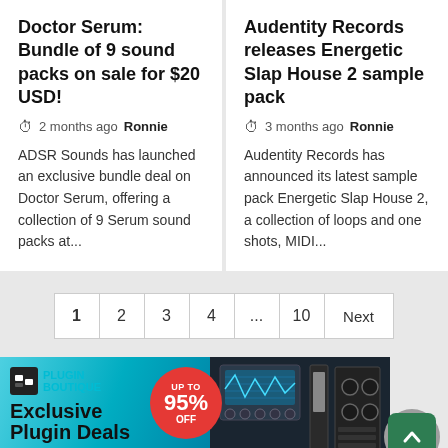Doctor Serum: Bundle of 9 sound packs on sale for $20 USD!
2 months ago  Ronnie
ADSR Sounds has launched an exclusive bundle deal on Doctor Serum, offering a collection of 9 Serum sound packs at...
Audentity Records releases Energetic Slap House 2 sample pack
3 months ago  Ronnie
Audentity Records has announced its latest sample pack Energetic Slap House 2, a collection of loops and one shots, MIDI...
1  2  3  4  ...  10  Next
[Figure (infographic): Plugin Boutique advertisement banner showing Exclusive Plugin Deals, UP TO 95% OFF, with See Deals button and plugin imagery]